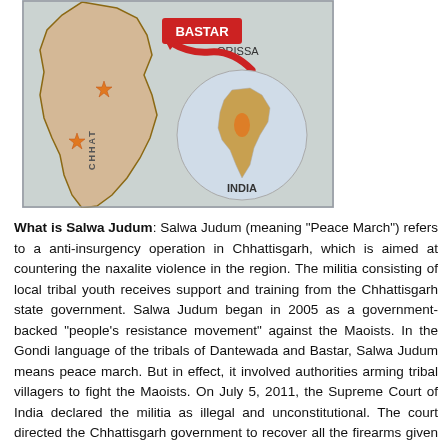[Figure (map): Map showing Bastar region in Chhattisgarh, India. The map displays the state boundary with 'CHHAT' (Chhattisgarh) labeled vertically, 'ORISSA' to the right, a red box labeled 'BASTAR' with a large red curved arrow pointing to the region, two orange star markers on the left side, and an inset circle map showing India with Chhattisgarh highlighted in orange and labeled 'INDIA'.]
What is Salwa Judum: Salwa Judum (meaning "Peace March") refers to a anti-insurgency operation in Chhattisgarh, which is aimed at countering the naxalite violence in the region. The militia consisting of local tribal youth receives support and training from the Chhattisgarh state government. Salwa Judum began in 2005 as a government-backed "people's resistance movement" against the Maoists. In the Gondi language of the tribals of Dantewada and Bastar, Salwa Judum means peace march. But in effect, it involved authorities arming tribal villagers to fight the Maoists. On July 5, 2011, the Supreme Court of India declared the militia as illegal and unconstitutional. The court directed the Chhattisgarh government to recover all the firearms given along with the ammunition and accessories. It also ordered